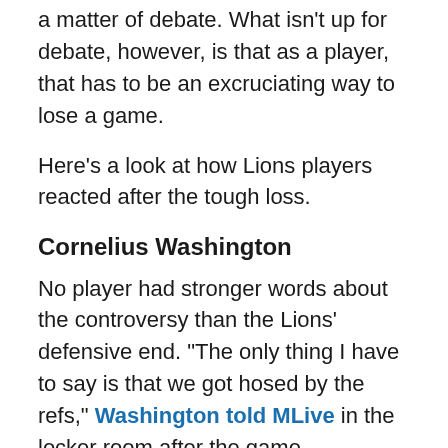a matter of debate. What isn't up for debate, however, is that as a player, that has to be an excruciating way to lose a game.
Here's a look at how Lions players reacted after the tough loss.
Cornelius Washington
No player had stronger words about the controversy than the Lions' defensive end. “The only thing I have to say is that we got hosed by the refs,” Washington told MLive in the locker room after the game.
Though most Lions players were a little more careful with their words, Washington was hardly the only player to be critical of the refs.
Jamal Agnew